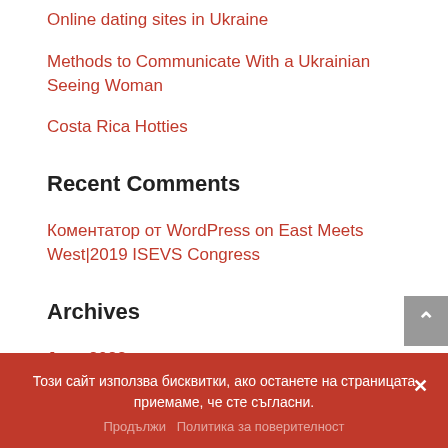Online dating sites in Ukraine
Methods to Communicate With a Ukrainian Seeing Woman
Costa Rica Hotties
Recent Comments
Коментатор от WordPress on East Meets West|2019 ISEVS Congress
Archives
June 2022
Този сайт използва бисквитки, ако останете на страницата приемаме, че сте съгласни.
Продължи   Политика за поверителност